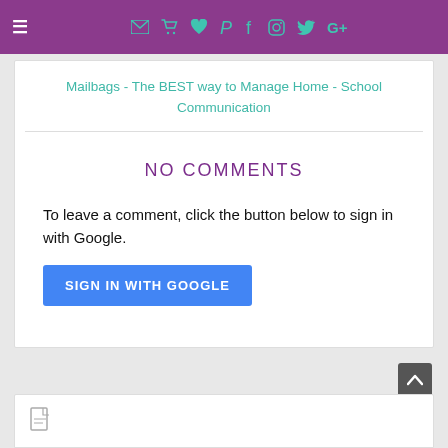≡ [nav icons: email, cart, heart, pinterest, facebook, instagram, twitter, google+]
Mailbags - The BEST way to Manage Home - School Communication
NO COMMENTS
To leave a comment, click the button below to sign in with Google.
SIGN IN WITH GOOGLE